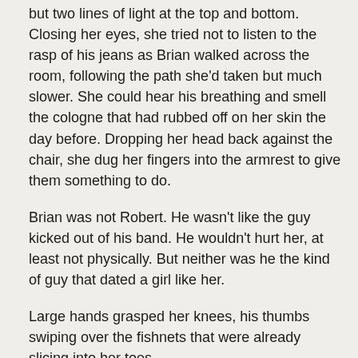but two lines of light at the top and bottom. Closing her eyes, she tried not to listen to the rasp of his jeans as Brian walked across the room, following the path she'd taken but much slower. She could hear his breathing and smell the cologne that had rubbed off on her skin the day before. Dropping her head back against the chair, she dug her fingers into the armrest to give them something to do.
Brian was not Robert. He wasn't like the guy kicked out of his band. He wouldn't hurt her, at least not physically. But neither was he the kind of guy that dated a girl like her.
Large hands grasped her knees, his thumbs swiping over the fishnets that were already slicing into her toes.
“Hey.”
The gentle word might as well have been a command. Prying one eye open, she looked at him kneeling in front of her.
He appeared serious and stark without the long hair. He’d aged, and not in a bad way. “How you feeling?”
“Like shit.” She pursed her lips to stop her from—